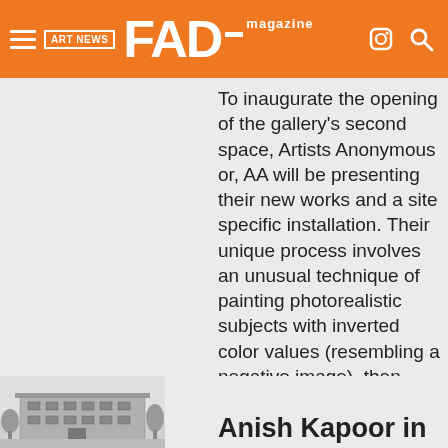FAD magazine — ART NEWS
To inaugurate the opening of the gallery's second space, Artists Anonymous or, AA will be presenting their new works and a site specific installation. Their unique process involves an unusual technique of painting photorealistic subjects with inverted color values (resembling a negative image), then photographing the painting and reproducing it in reverse–resulting in a positive. VCool…
ART NEWS
ART NEWS NEW YORK
Anish Kapoor in